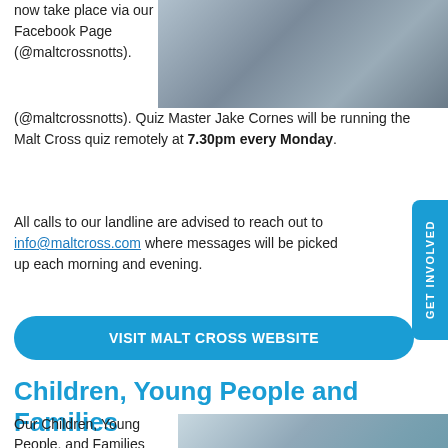[Figure (photo): Photo of people at Malt Cross venue, top right of page]
now take place via our Facebook Page (@maltcrossnotts). Quiz Master Jake Cornes will be running the Malt Cross quiz remotely at 7.30pm every Monday.
All calls to our landline are advised to reach out to info@maltcross.com where messages will be picked up each morning and evening.
VISIT MALT CROSS WEBSITE
Children, Young People and Families
[Figure (photo): Photo of child climbing with helmet, bottom right]
Our Children, Young People, and Families services